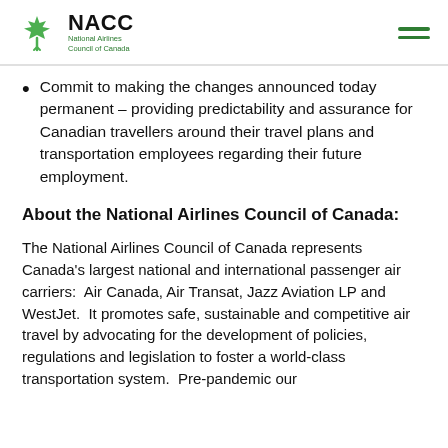NACC — National Airlines Council of Canada
Commit to making the changes announced today permanent – providing predictability and assurance for Canadian travellers around their travel plans and transportation employees regarding their future employment.
About the National Airlines Council of Canada:
The National Airlines Council of Canada represents Canada's largest national and international passenger air carriers:  Air Canada, Air Transat, Jazz Aviation LP and WestJet.  It promotes safe, sustainable and competitive air travel by advocating for the development of policies, regulations and legislation to foster a world-class transportation system.  Pre-pandemic our